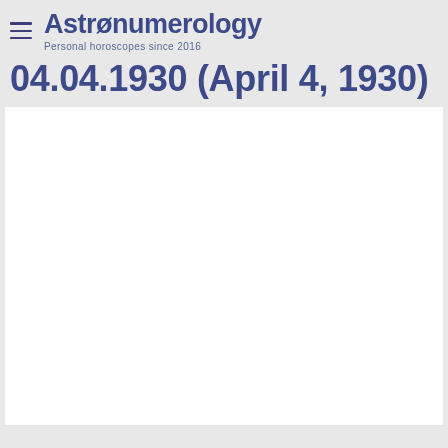Astronumerology — Personal horoscopes since 2016
04.04.1930 (April 4, 1930)
[Figure (other): White blank content area below the title]